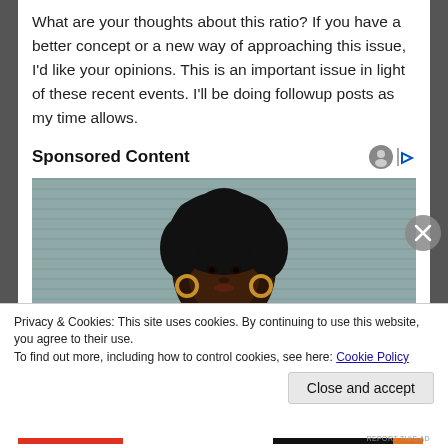What are your thoughts about this ratio? If you have a better concept or a new way of approaching this issue, I'd like your opinions. This is an important issue in light of these recent events. I'll be doing followup posts as my time allows.
Sponsored Content
[Figure (photo): Photo of a young Black woman with natural curly hair wearing gold hoop earrings and an orange jacket, against a gray background.]
Privacy & Cookies: This site uses cookies. By continuing to use this website, you agree to their use.
To find out more, including how to control cookies, see here: Cookie Policy
Close and accept